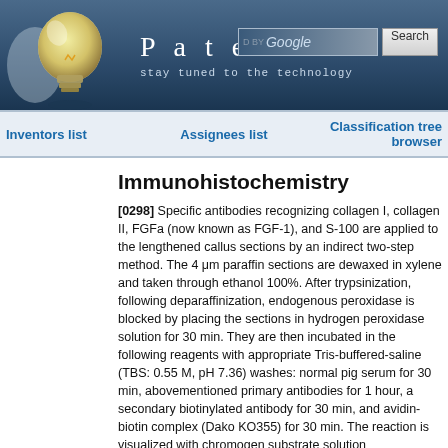[Figure (screenshot): Patentdocs website header with lightbulb logo, site title 'Patentdocs', tagline 'stay tuned to the technology', and Google search bar with Search button]
Inventors list   Assignees list   Classification tree browser
Immunohistochemistry
[0298] Specific antibodies recognizing collagen I, collagen II, FGFa (now known as FGF-1), and S-100 are applied to the lengthened callus sections by an indirect two-step method. The 4 μm paraffin sections are dewaxed in xylene and taken through ethanol 100%. After trypsinization, following deparaffinization, endogenous peroxidase is blocked by placing the sections in hydrogen peroxidase solution for 30 min. They are then incubated in the following reagents with appropriate Tris-buffered-saline (TBS: 0.55 M, pH 7.36) washes: normal pig serum for 30 min, abovementioned primary antibodies for 1 hour, a secondary biotinylated antibody for 30 min, and avidin-biotin complex (Dako KO355) for 30 min. The reaction is visualized with chromogen substrate solution (diaminobenzidine, hydrogen peroxidase, TB) and sections are counterstained with Harris's hematoxylin, dehydrated, and